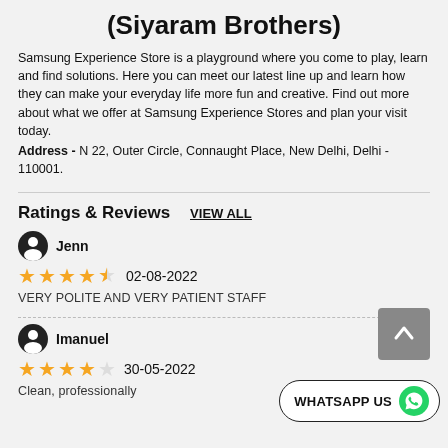(Siyaram Brothers)
Samsung Experience Store is a playground where you come to play, learn and find solutions. Here you can meet our latest line up and learn how they can make your everyday life more fun and creative. Find out more about what we offer at Samsung Experience Stores and plan your visit today.
Address - N 22, Outer Circle, Connaught Place, New Delhi, Delhi - 110001.
Ratings & Reviews
VIEW ALL
Jenn
★★★★½  02-08-2022
VERY POLITE AND VERY PATIENT STAFF
Imanuel
★★★★☆  30-05-2022
Clean, professionally